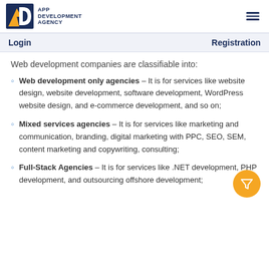APP DEVELOPMENT AGENCY
Login    Registration
Web development companies are classifiable into:
Web development only agencies – It is for services like website design, website development, software development, WordPress website design, and e-commerce development, and so on;
Mixed services agencies – It is for services like marketing and communication, branding, digital marketing with PPC, SEO, SEM, content marketing and copywriting, consulting;
Full-Stack Agencies – It is for services like .NET development, PHP development, and outsourcing offshore development;